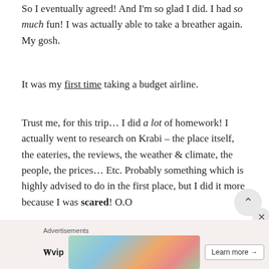So I eventually agreed! And I'm so glad I did. I had so much fun! I was actually able to take a breather again. My gosh.
It was my first time taking a budget airline.
Trust me, for this trip… I did a lot of homework! I actually went to research on Krabi – the place itself, the eateries, the reviews, the weather & climate, the people, the prices… Etc. Probably something which is highly advised to do in the first place, but I did it more because I was scared! O.O
Because believe it or not, its my first time (again) traveling without my family.
[Figure (other): Advertisement banner at bottom of page showing WordPress VIP logo, colorful card graphics, and a Learn more button]